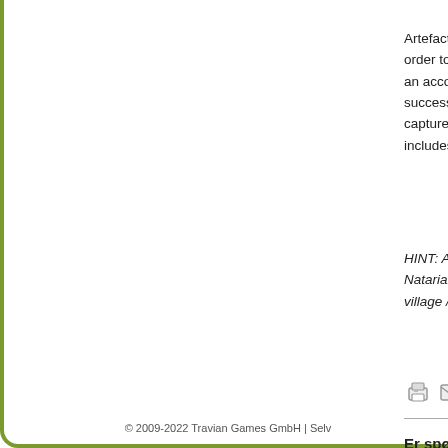Artefacts w... order to ca... an account... successful ... capture the... includes ca...
HINT: After ... Natarian vi... village / acc...
[Figure (other): Three icons: print, email, download]
Er spørsm
○ Ja  ○
Vurder!
© 2009-2022 Travian Games GmbH | Selv...